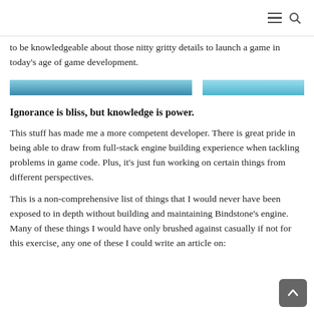[Figure (photo): A partial image strip showing a blue-toned landscape or environmental photo, cropped to a thin horizontal band.]
to be knowledgeable about those nitty gritty details to launch a game in today's age of game development.
Ignorance is bliss, but knowledge is power.
This stuff has made me a more competent developer. There is great pride in being able to draw from full-stack engine building experience when tackling problems in game code. Plus, it's just fun working on certain things from different perspectives.
This is a non-comprehensive list of things that I would never have been exposed to in depth without building and maintaining Bindstone's engine. Many of these things I would have only brushed against casually if not for this exercise, any one of these I could write an article on: